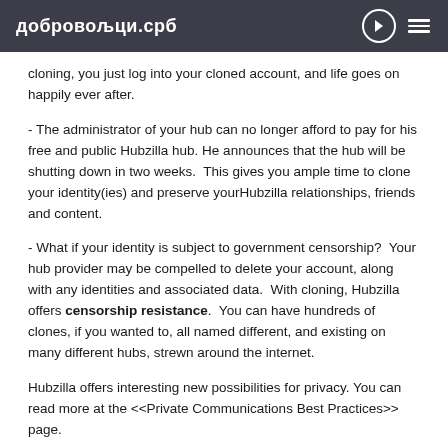добровољци.срб
cloning, you just log into your cloned account, and life goes on happily ever after.
- The administrator of your hub can no longer afford to pay for his free and public Hubzilla hub. He announces that the hub will be shutting down in two weeks.  This gives you ample time to clone your identity(ies) and preserve yourHubzilla relationships, friends and content.
- What if your identity is subject to government censorship?  Your hub provider may be compelled to delete your account, along with any identities and associated data.  With cloning, Hubzilla offers censorship resistance.  You can have hundreds of clones, if you wanted to, all named different, and existing on many different hubs, strewn around the internet.
Hubzilla offers interesting new possibilities for privacy. You can read more at the <<Private Communications Best Practices>> page.
Some caveats apply. For a full explanation of identity cloning,